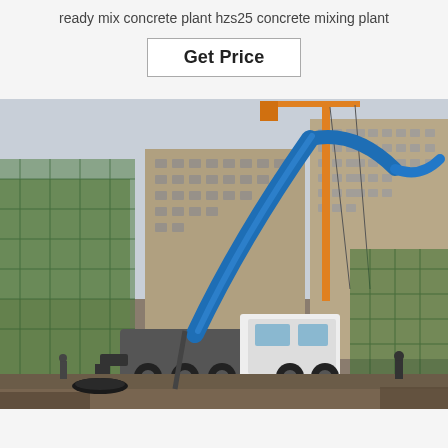ready mix concrete plant hzs25 concrete mixing plant
Get Price
[Figure (photo): A large blue concrete pump truck with an extended boom arm at a construction site, with tall cranes and high-rise buildings under construction in the background, and green scaffolding on the left and right.]